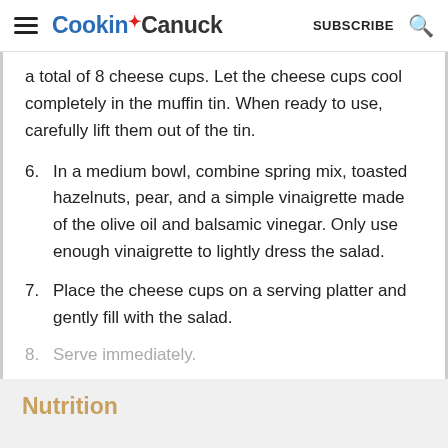Cookin' Canuck  SUBSCRIBE
a total of 8 cheese cups. Let the cheese cups cool completely in the muffin tin. When ready to use, carefully lift them out of the tin.
6. In a medium bowl, combine spring mix, toasted hazelnuts, pear, and a simple vinaigrette made of the olive oil and balsamic vinegar. Only use enough vinaigrette to lightly dress the salad.
7. Place the cheese cups on a serving platter and gently fill with the salad.
8. Serve immediately.
Nutrition